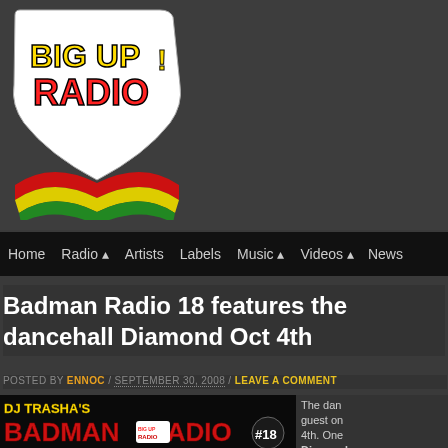[Figure (logo): Big Up Radio logo with red, yellow and green swoosh design and white text on dark background]
Home / Radio ▲ / Artists / Labels / Music ▲ / Videos ▲ / News
Badman Radio 18 features the dancehall Diamond Oct 4th
POSTED BY ENNOC / SEPTEMBER 30, 2008 / LEAVE A COMMENT
[Figure (photo): DJ Trasha's Badman Radio #18 promotional banner with Big Up Radio logo]
The dan... guest on... 4th. One... Diamond... years...